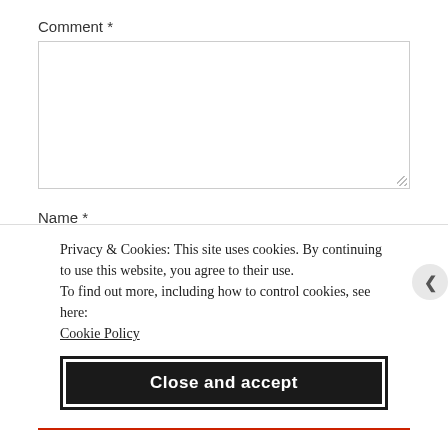Comment *
Name *
Privacy & Cookies: This site uses cookies. By continuing to use this website, you agree to their use.
To find out more, including how to control cookies, see here:
Cookie Policy
Close and accept